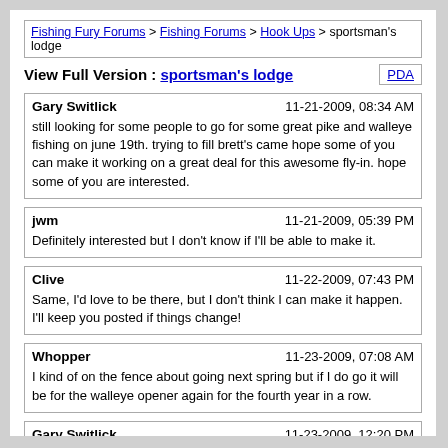Fishing Fury Forums > Fishing Forums > Hook Ups > sportsman's lodge
View Full Version : sportsman's lodge
Gary Switlick	11-21-2009, 08:34 AM
still looking for some people to go for some great pike and walleye fishing on june 19th. trying to fill brett's came hope some of you can make it working on a great deal for this awesome fly-in. hope some of you are interested.
jwm	11-21-2009, 05:39 PM
Definitely interested but I don't know if I'll be able to make it.
Clive	11-22-2009, 07:43 PM
Same, I'd love to be there, but I don't think I can make it happen. I'll keep you posted if things change!
Whopper	11-23-2009, 07:08 AM
I kind of on the fence about going next spring but if I do go it will be for the walleye opener again for the fourth year in a row.
Gary Switlick	11-23-2009, 12:20 PM
what week is that whopper?